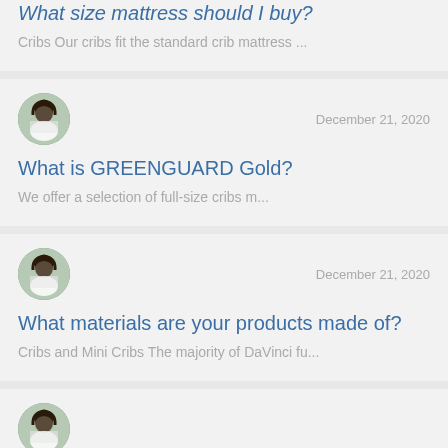What size mattress should I buy?
Cribs Our cribs fit the standard crib mattress ...
December 21, 2020
What is GREENGUARD Gold?
We offer a selection of full-size cribs m...
December 21, 2020
What materials are your products made of?
Cribs and Mini Cribs The majority of DaVinci fu...